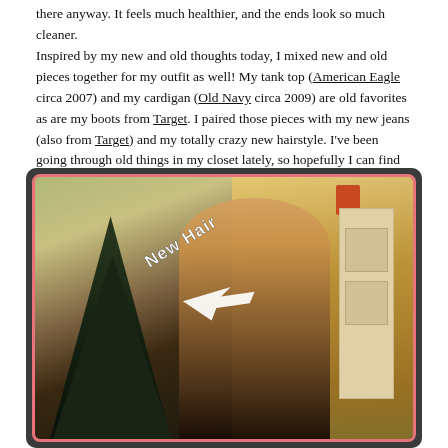there anyway. It feels much healthier, and the ends look so much cleaner. Inspired by my new and old thoughts today, I mixed new and old pieces together for my outfit as well! My tank top (American Eagle circa 2007) and my cardigan (Old Navy circa 2009) are old favorites as are my boots from Target. I paired those pieces with my new jeans (also from Target) and my totally crazy new hairstyle. I've been going through old things in my closet lately, so hopefully I can find fun new pairings in the future too!
[Figure (photo): A young woman with long straight brown hair standing and smiling, wearing a light yellow/green cardigan. A Christmas tree is visible on the left side, and a doorway with warm lighting on the right. A handwritten white label 'New Hair' with an arrow points to her hair.]